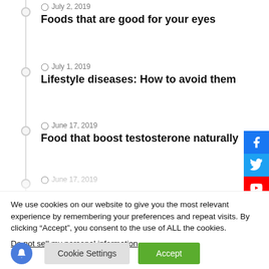July 2, 2019
Foods that are good for your eyes
July 1, 2019
Lifestyle diseases: How to avoid them
June 17, 2019
Food that boost testosterone naturally
We use cookies on our website to give you the most relevant experience by remembering your preferences and repeat visits. By clicking “Accept”, you consent to the use of ALL the cookies.
Do not sell my personal information.